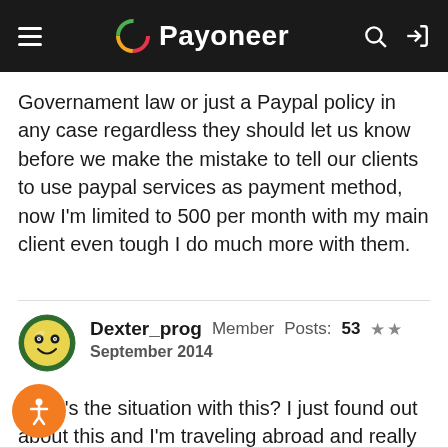[Figure (logo): Payoneer website header with hamburger menu, Payoneer logo (multicolor circle icon and white text), search icon, and login icon on dark background]
Governament law or just a Paypal policy in any case regardless they should let us know before we make the mistake to tell our clients to use paypal services as payment method, now I'm limited to 500 per month with my main client even tough I do much more with them.
Dexter_prog Member Posts: 53 ★★ September 2014
What's the situation with this? I just found out about this and I'm traveling abroad and really need to use my Payoneer Master Card card to withdraw money...